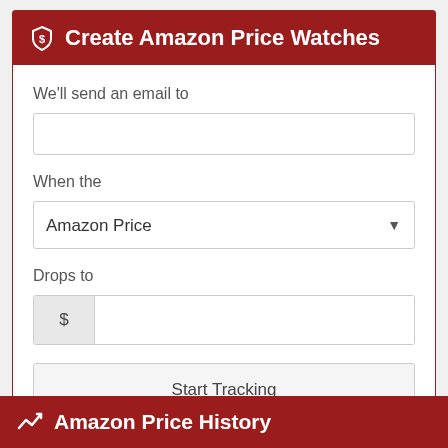Create Amazon Price Watches
We'll send an email to
When the
Amazon Price
Drops to
$
Start Tracking
Amazon Price History